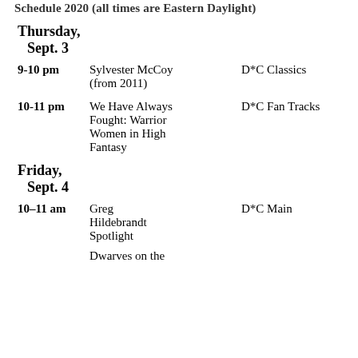Schedule 2020 (all times are Eastern Daylight)
Thursday,
Sept. 3
9-10 pm | Sylvester McCoy (from 2011) | D*C Classics
10-11 pm | We Have Always Fought: Warrior Women in High Fantasy | D*C Fan Tracks
Friday,
Sept. 4
10–11 am | Greg Hildebrandt Spotlight | D*C Main
Dwarves on the…